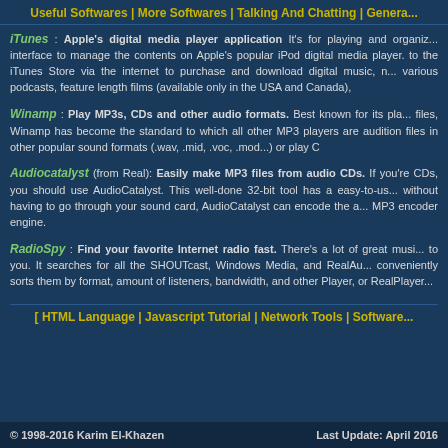Useful Softwares | More Softwares | Talking And Chatting | Genera...
iTunes : Apple's digital media player application It's for playing and organizing interface to manage the contents on Apple's popular iPod digital media player. to the iTunes Store via the internet to purchase and download digital music, n... various podcasts, feature length films (available only in the USA and Canada),
Winamp : Play MP3s, CDs and other audio formats. Best known for its pla... files, Winamp has become the standard to which all other MP3 players are audition files in other popular sound formats (.wav, .mid, .voc, .mod...) or play C
Audiocatalyst (from Real): Easily make MP3 files from audio CDs. If you're CDs, you should use AudioCatalyst. This well-done 32-bit tool has a easy-to-us... without having to go through your sound card, AudioCatalyst can encode the a... MP3 encoder engine.
RadioSpy : Find your favorite Internet radio fast. There's a lot of great musi... to you. It searches for all the SHOUTcast, Windows Media, and RealAu... conveniently sorts them by format, amount of listeners, bandwidth, and other Player, or RealPlayer...
[ HTML Language | Javascript Tutorial | Network Tools | Software...
© 1998-2016 Karim El-Khazen    Last Update: April 2016